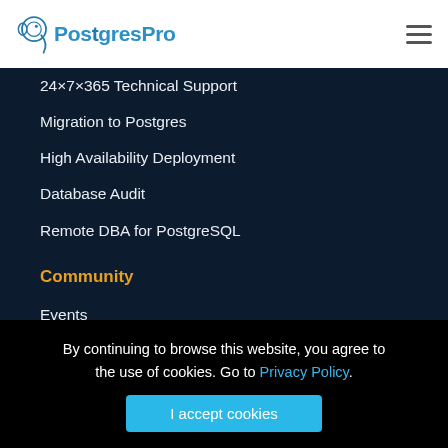PostgresPro
24×7×365 Technical Support
Migration to Postgres
High Availability Deployment
Database Audit
Remote DBA for PostgreSQL
Community
Events
Training Courses
Intro Book
By continuing to browse this website, you agree to the use of cookies. Go to Privacy Policy.
I accept cookies